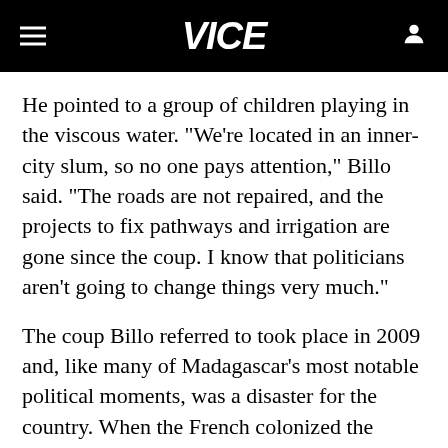VICE
He pointed to a group of children playing in the viscous water. "We're located in an inner-city slum, so no one pays attention," Billo said. "The roads are not repaired, and the projects to fix pathways and irrigation are gone since the coup. I know that politicians aren't going to change things very much."
The coup Billo referred to took place in 2009 and, like many of Madagascar's most notable political moments, was a disaster for the country. When the French colonized the region in 1885, they set to work stripping the area of